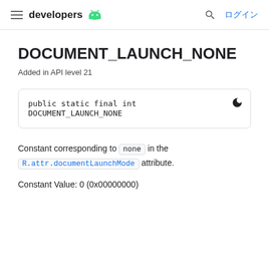developers  ログイン
DOCUMENT_LAUNCH_NONE
Added in API level 21
Constant corresponding to none in the R.attr.documentLaunchMode attribute.
Constant Value: 0 (0x00000000)